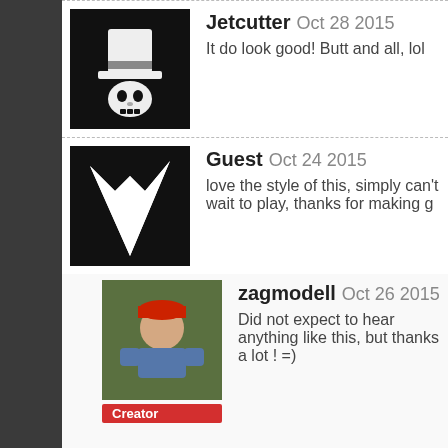Jetcutter Oct 28 2015 - It do look good! Butt and all, lol
Guest Oct 24 2015 - love the style of this, simply can't wait to play, thanks for making g
zagmodell Oct 26 2015 - Did not expect to hear anything like this, but thanks a lot ! =)
Jerkakame Oct 18 2015 - nice butt
Jonex. Oct 5 2015 - Asssssssssss